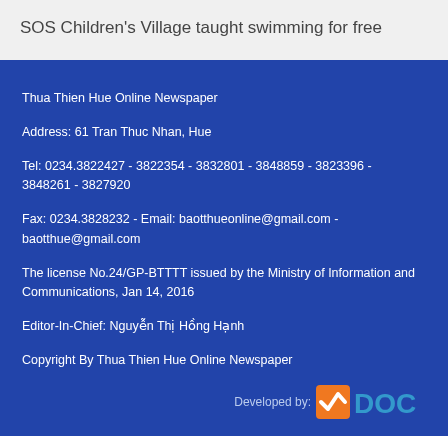SOS Children's Village taught swimming for free
Thua Thien Hue Online Newspaper
Address: 61 Tran Thuc Nhan, Hue
Tel: 0234.3822427 - 3822354 - 3832801 - 3848859 - 3823396 - 3848261 - 3827920
Fax: 0234.3828232 - Email: baotthueonline@gmail.com - baotthue@gmail.com
The license No.24/GP-BTTTT issued by the Ministry of Information and Communications, Jan 14, 2016
Editor-In-Chief: Nguyễn Thị Hồng Hạnh
Copyright By Thua Thien Hue Online Newspaper
[Figure (logo): VDOC logo - orange checkmark icon with blue DOC text]